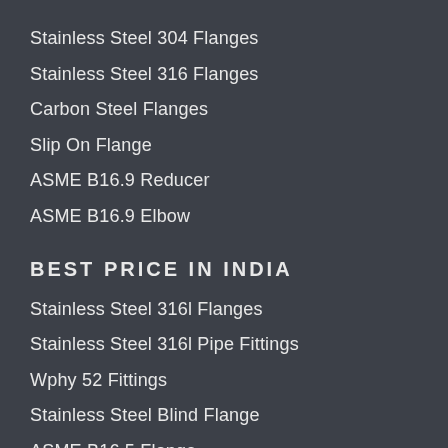Stainless Steel 304 Flanges
Stainless Steel 316 Flanges
Carbon Steel Flanges
Slip On Flange
ASME B16.9 Reducer
ASME B16.9 Elbow
BEST PRICE IN INDIA
Stainless Steel 316l Flanges
Stainless Steel 316l Pipe Fittings
Wphy 52 Fittings
Stainless Steel Blind Flange
ASME B16.5 Flange